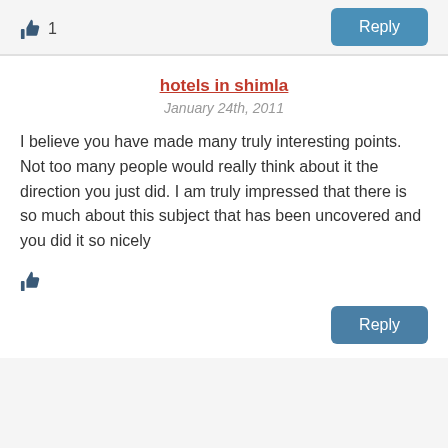[Figure (other): Thumbs up icon with count '1']
Reply
hotels in shimla
January 24th, 2011
I believe you have made many truly interesting points. Not too many people would really think about it the direction you just did. I am truly impressed that there is so much about this subject that has been uncovered and you did it so nicely
[Figure (other): Thumbs up icon]
Reply